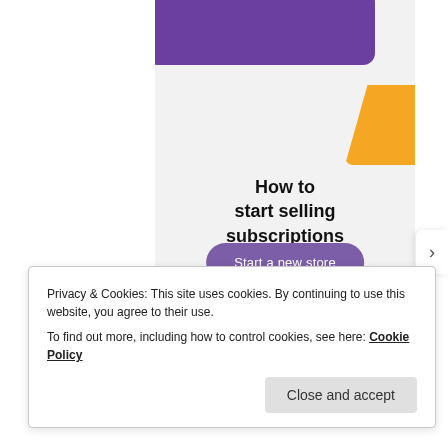[Figure (illustration): App preview card with purple rounded shape at top and orange shape on the right, on a light gray background]
How to start selling subscriptions online
Start a new store
Privacy & Cookies: This site uses cookies. By continuing to use this website, you agree to their use.
To find out more, including how to control cookies, see here: Cookie Policy
Close and accept